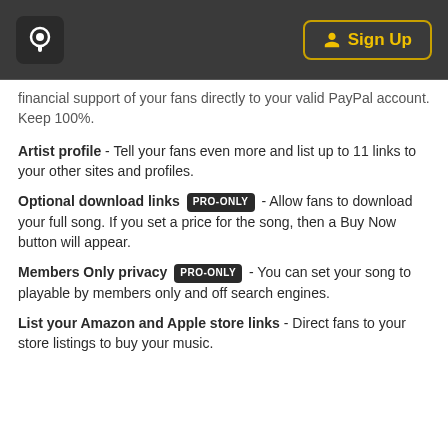Hearthis logo | Sign Up
financial support of your fans directly to your valid PayPal account. Keep 100%.
Artist profile - Tell your fans even more and list up to 11 links to your other sites and profiles.
Optional download links [PRO-ONLY] - Allow fans to download your full song. If you set a price for the song, then a Buy Now button will appear.
Members Only privacy [PRO-ONLY] - You can set your song to playable by members only and off search engines.
List your Amazon and Apple store links - Direct fans to your store listings to buy your music.